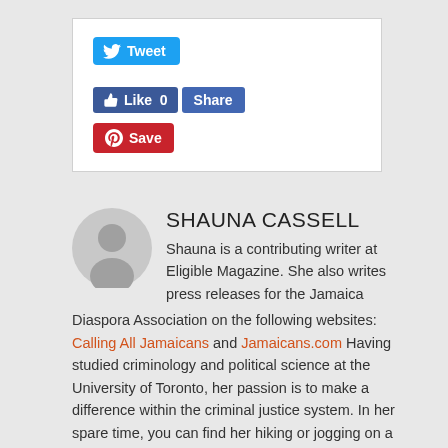[Figure (other): Social sharing buttons: Tweet (Twitter), Like 0 and Share (Facebook), Save (Pinterest)]
SHAUNA CASSELL
[Figure (illustration): Circular grey avatar placeholder with silhouette of a person]
Shauna is a contributing writer at Eligible Magazine. She also writes press releases for the Jamaica Diaspora Association on the following websites: Calling All Jamaicans and Jamaicans.com Having studied criminology and political science at the University of Toronto, her passion is to make a difference within the criminal justice system. In her spare time, you can find her hiking or jogging on a nearby trail, writing, reading a